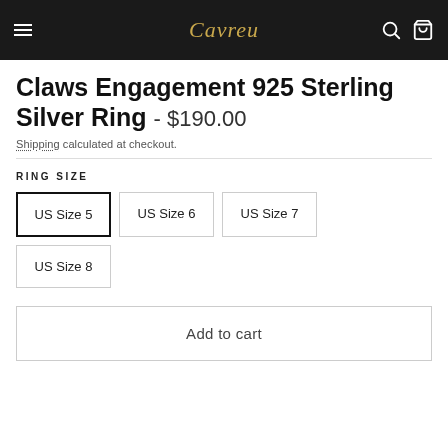Cavreu
Claws Engagement 925 Sterling Silver Ring - $190.00
Shipping calculated at checkout.
RING SIZE
US Size 5
US Size 6
US Size 7
US Size 8
Add to cart